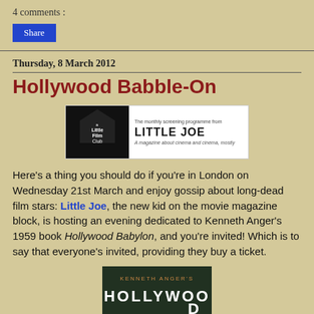4 comments :
Share
Thursday, 8 March 2012
Hollywood Babble-On
[Figure (logo): Little Film Club / Little Joe magazine banner. Left side: dark background with 'a Little Film Club' text in white. Right side: white background with 'The monthly screening programme from LITTLE JOE - A magazine about cinema and cinema, mostly']
Here's a thing you should do if you're in London on Wednesday 21st March and enjoy gossip about long-dead film stars: Little Joe, the new kid on the movie magazine block, is hosting an evening dedicated to Kenneth Anger's 1959 book Hollywood Babylon, and you're invited! Which is to say that everyone's invited, providing they buy a ticket.
[Figure (photo): Book cover of Hollywood Babylon by Kenneth Anger showing Hollywood sign]